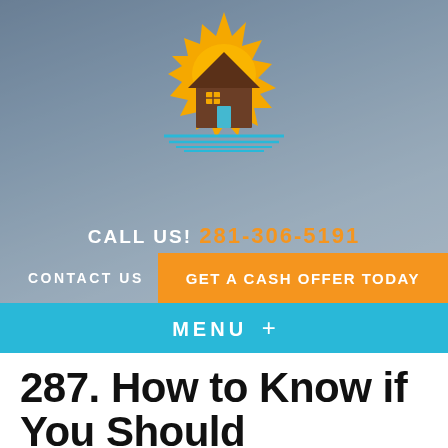[Figure (logo): House with sun rays logo illustration — brown house with yellow/orange sunburst rays behind it, with blue horizontal lines below representing water or a horizon]
CALL US!  281-306-5191
CONTACT US   GET A CASH OFFER TODAY
MENU  +
287. How to Know if You Should Refinance or Sell